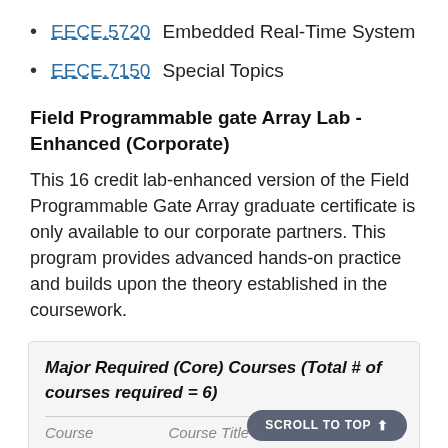EECE.5720 Embedded Real-Time System
EECE.7150 Special Topics
Field Programmable gate Array Lab - Enhanced (Corporate)
This 16 credit lab-enhanced version of the Field Programmable Gate Array graduate certificate is only available to our corporate partners. This program provides advanced hands-on practice and builds upon the theory established in the coursework.
| Course | Course Title | Credit |
| --- | --- | --- |